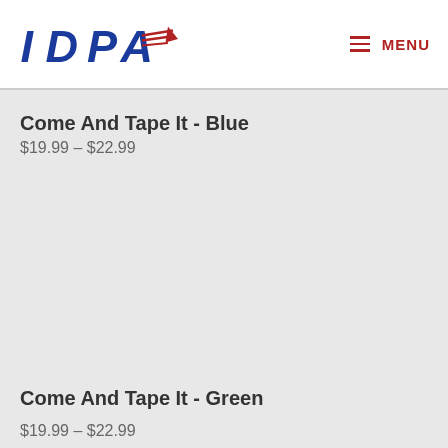[Figure (logo): IDPA logo with blue bold letters and red wing/stripe graphic]
≡ MENU
Come And Tape It - Blue
$19.99 – $22.99
Come And Tape It - Green
$19.99 – $22.99